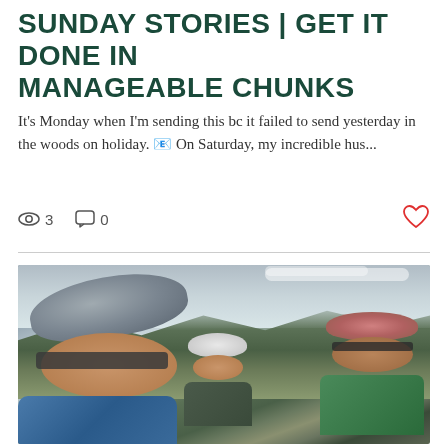SUNDAY STORIES | GET IT DONE IN MANAGEABLE CHUNKS
It's Monday when I'm sending this bc it failed to send yesterday in the woods on holiday. 📧 On Saturday, my incredible hus...
3  0
[Figure (photo): Outdoor selfie photo of three people mountain biking on a trail. The person in the foreground is a woman smiling, wearing a gray mountain bike helmet, dark sunglasses, and a blue shirt. Behind her are two other cyclists wearing helmets - one with a white helmet and gray shirt, and one with a pink/red helmet, sunglasses, and green shirt. The background shows green wooded hills and an overcast sky.]